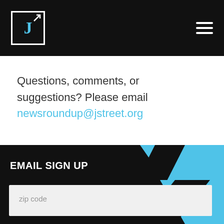J Street logo and navigation header
Questions, comments, or suggestions? Please email newsroundup@jstreet.org
EMAIL SIGN UP
email
zip code